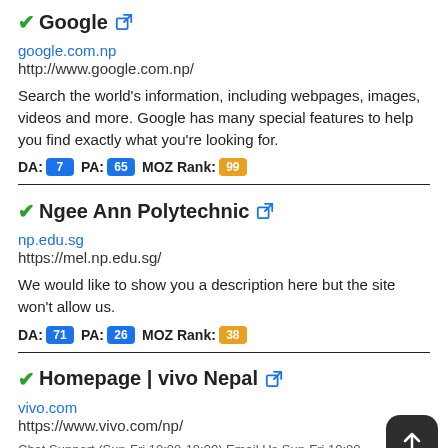Google
google.com.np
http://www.google.com.np/
Search the world's information, including webpages, images, videos and more. Google has many special features to help you find exactly what you're looking for.
DA: 7 PA: 65 MOZ Rank: 99
Ngee Ann Polytechnic
np.edu.sg
https://mel.np.edu.sg/
We would like to show you a description here but the site won't allow us.
DA: 71 PA: 26 MOZ Rank: 38
Homepage | vivo Nepal
vivo.com
https://www.vivo.com/np/
Chat Support (Sun-Fri 10:00-19:00) Email Us Sun-Fri 10:00-